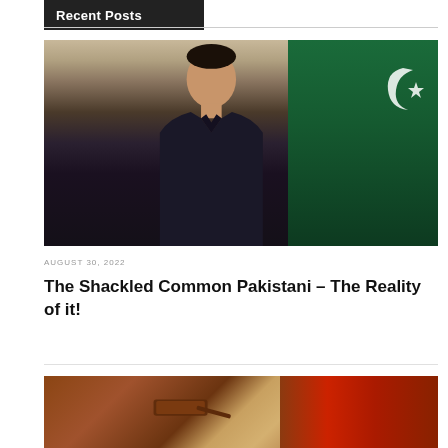Recent Posts
[Figure (photo): Man in dark suit seated in front of Pakistan flag]
AUGUST 30, 2022
The Shackled Common Pakistani – The Reality of it!
[Figure (photo): Gavel on books — legal/court imagery]